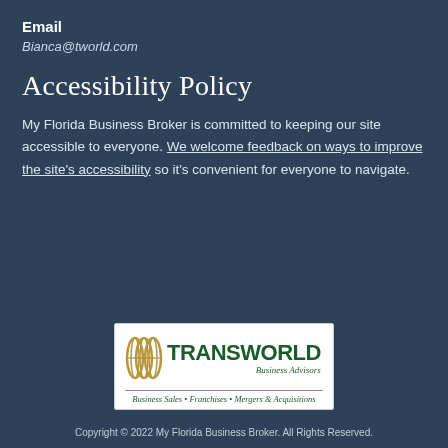Email
Bianca@tworld.com
Accessibility Policy
My Florida Business Broker is committed to keeping our site accessible to everyone. We welcome feedback on ways to improve the site's accessibility so it's convenient for everyone to navigate.
[Figure (logo): Transworld Business Advisors logo — green globe icon on left, bold green TRANSWORLD lettering, italic 'Business Advisors' on right, tagline 'Business Sales • Franchises • Mergers & Acquisitions' below divider line, white background]
Copyright © 2022 My Florida Business Broker. All Rights Reserved.